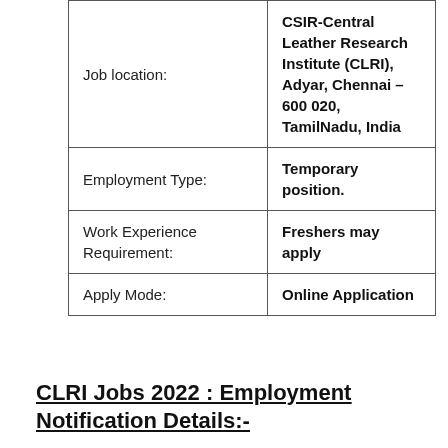| Job location: | CSIR-Central Leather Research Institute (CLRI), Adyar, Chennai – 600 020, TamilNadu, India |
| Employment Type: | Temporary position. |
| Work Experience Requirement: | Freshers may apply |
| Apply Mode: | Online Application |
CLRI Jobs 2022 : Employment Notification Details:-